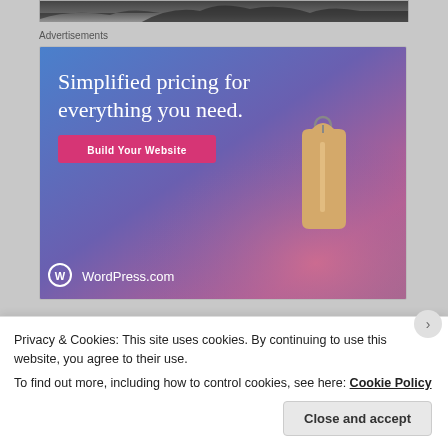[Figure (photo): Partial photo strip at top showing tree branches against sky, cropped to a narrow strip]
Advertisements
[Figure (illustration): WordPress.com advertisement banner with blue-to-pink gradient background, text reading 'Simplified pricing for everything you need.', a pink 'Build Your Website' button, a hanging price tag illustration, and the WordPress.com logo at the bottom left]
Privacy & Cookies: This site uses cookies. By continuing to use this website, you agree to their use.
To find out more, including how to control cookies, see here: Cookie Policy
Close and accept